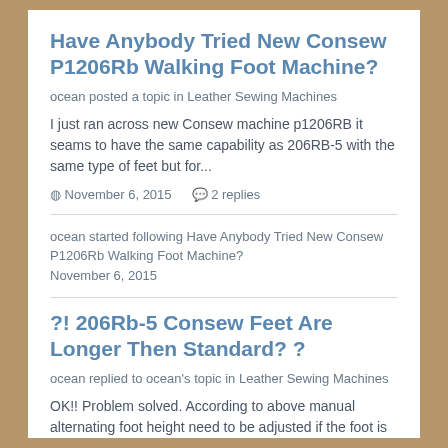Have Anybody Tried New Consew P1206Rb Walking Foot Machine?
ocean posted a topic in Leather Sewing Machines
I just ran across new Consew machine p1206RB it seams to have the same capability as 206RB-5 with the same type of feet but for...
November 6, 2015   2 replies
ocean started following Have Anybody Tried New Consew P1206Rb Walking Foot Machine?
November 6, 2015
?! 206Rb-5 Consew Feet Are Longer Then Standard? ?
ocean replied to ocean's topic in Leather Sewing Machines
OK!! Problem solved. According to above manual alternating foot height need to be adjusted if the foot is longer. It is actually...